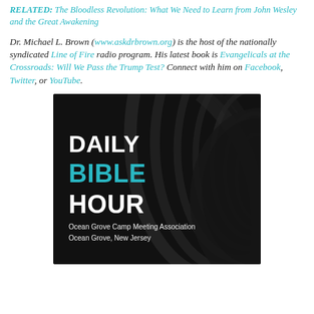RELATED: The Bloodless Revolution: What We Need to Learn from John Wesley and the Great Awakening
Dr. Michael L. Brown (www.askdrbrown.org) is the host of the nationally syndicated Line of Fire radio program. His latest book is Evangelicals at the Crossroads: Will We Pass the Trump Test? Connect with him on Facebook, Twitter, or YouTube.
[Figure (illustration): Advertisement for Daily Bible Hour by Ocean Grove Camp Meeting Association, Ocean Grove, New Jersey. Dark background with abstract wave/ribbon graphic. Text: DAILY in white bold, BIBLE in teal/cyan bold, HOUR in white bold. Below: Ocean Grove Camp Meeting Association / Ocean Grove, New Jersey in white small text.]